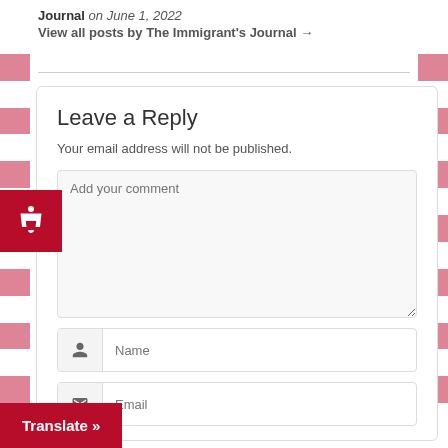Journal on June 1, 2022
View all posts by The Immigrant's Journal →
Leave a Reply
Your email address will not be published.
Add your comment
Name
Email
Translate »